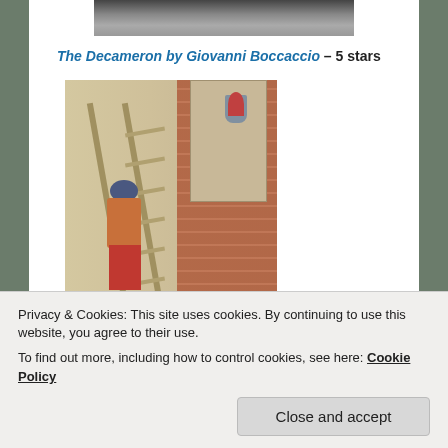[Figure (photo): Cropped top portion of a photograph, partially visible at top of page]
The Decameron by Giovanni Boccaccio – 5 stars
[Figure (illustration): Book cover of The Decameron by Giovanni Boccaccio (Oxford World's Classics), showing a medieval illuminated manuscript painting of a man climbing a ladder against a castle or building, with a figure visible in a window. The cover is partially cut off at the bottom.]
Privacy & Cookies: This site uses cookies. By continuing to use this website, you agree to their use.
To find out more, including how to control cookies, see here: Cookie Policy